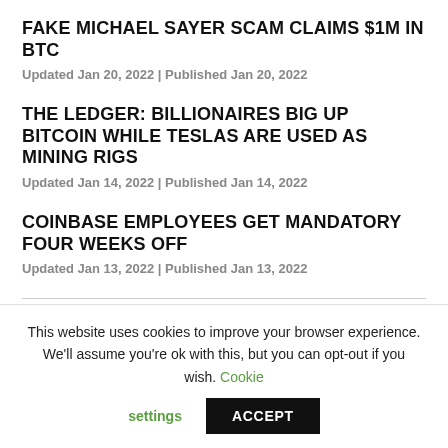FAKE MICHAEL SAYER SCAM CLAIMS $1M IN BTC
Updated Jan 20, 2022 | Published Jan 20, 2022
THE LEDGER: BILLIONAIRES BIG UP BITCOIN WHILE TESLAS ARE USED AS MINING RIGS
Updated Jan 14, 2022 | Published Jan 14, 2022
COINBASE EMPLOYEES GET MANDATORY FOUR WEEKS OFF
Updated Jan 13, 2022 | Published Jan 13, 2022
This website uses cookies to improve your browser experience. We'll assume you're ok with this, but you can opt-out if you wish. Cookie settings ACCEPT